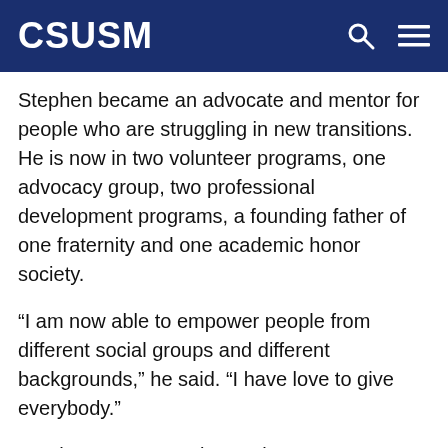CSUSM
Stephen became an advocate and mentor for people who are struggling in new transitions. He is now in two volunteer programs, one advocacy group, two professional development programs, a founding father of one fraternity and one academic honor society.
“I am now able to empower people from different social groups and different backgrounds,” he said. “I have love to give everybody.”
Stephen’s presence is a welcome energy among his fellow veteran students and staff.
“He exemplifies everything that is good about a father and veteran,” said Moses Maddox, Veterans Retention Counselor, Veterans Services. “His genuine dedication to